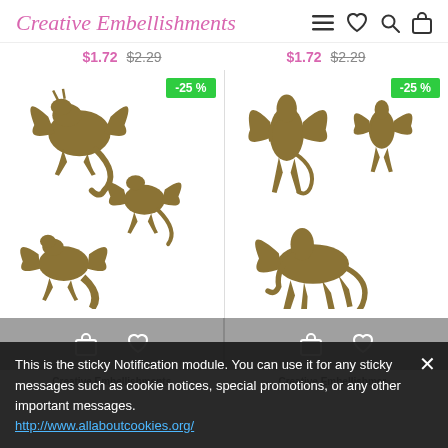Creative Embellishments — navigation header with logo and icons
$1.72  $2.29  (left product price)
$1.72  $2.29  (right product price)
[Figure (illustration): Three dragon silhouettes in golden-brown color arranged as a set, with -25% badge]
[Figure (illustration): Three pegasus/winged horse silhouettes in golden-brown color arranged as a set, with -25% badge]
Action bar with shopping bag and heart icons for each product
Creative Embellishments  Creative Embellishments (product titles below action bar, partially visible)
This is the sticky Notification module. You can use it for any sticky messages such as cookie notices, special promotions, or any other important messages.
http://www.allaboutcookies.org/
$2.99  (partially visible price)
-25 % (partially visible badge)